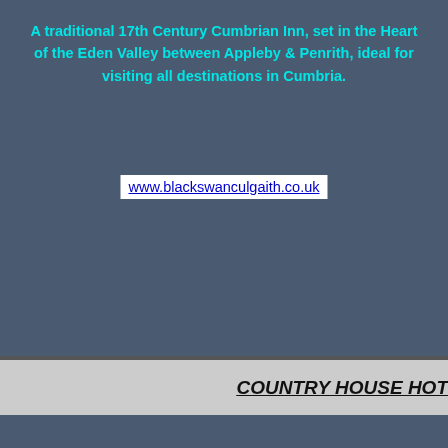A traditional 17th Century Cumbrian Inn, set in the Heart of the Eden Valley between Appleby & Penrith, ideal for visiting all destinations in Cumbria.
www.blackswanculgaith.co.uk
COUNTRY HOUSE HOT...
[Figure (photo): A photo placeholder rectangle within a dark blue-gray card section]
The Ma... ground... good fo...
WARWICK HALL ACCOMMODATI...